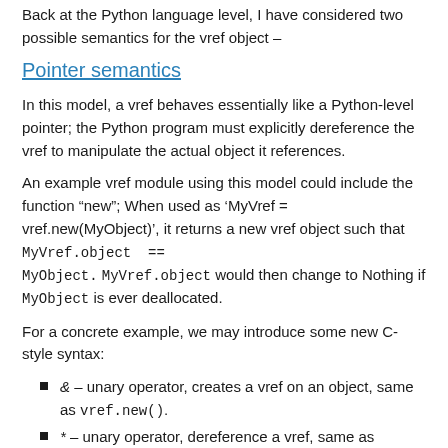Back at the Python language level, I have considered two possible semantics for the vref object –
Pointer semantics
In this model, a vref behaves essentially like a Python-level pointer; the Python program must explicitly dereference the vref to manipulate the actual object it references.
An example vref module using this model could include the function "new"; When used as 'MyVref = vref.new(MyObject)', it returns a new vref object such that MyVref.object == MyObject. MyVref.object would then change to Nothing if MyObject is ever deallocated.
For a concrete example, we may introduce some new C-style syntax:
& – unary operator, creates a vref on an object, same as vref.new().
* – unary operator, dereference a vref, same as VrefObject.object.
We can then define: